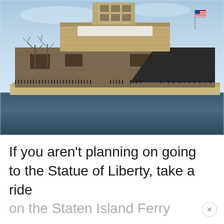[Figure (photo): Photograph of the Statue of Liberty taken from the water, showing the base and pedestal of the statue with crowds of visitors along the waterfront. The sky is light blue and there are bare winter trees visible. An American flag is visible on the right side.]
If you aren't planning on going to the Statue of Liberty, take a ride on the Staten Island Ferry